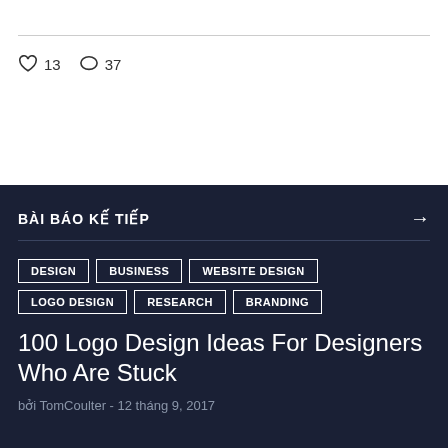♡ 13   ◯ 37
BÀI BÁO KẾ TIẾP →
DESIGN
BUSINESS
WEBSITE DESIGN
LOGO DESIGN
RESEARCH
BRANDING
100 Logo Design Ideas For Designers Who Are Stuck
bởi TomCoulter - 12 tháng 9, 2017